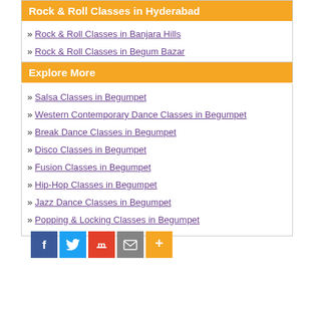Rock & Roll Classes in Hyderabad
Rock & Roll Classes in Banjara Hills
Rock & Roll Classes in Begum Bazar
Explore More
Salsa Classes in Begumpet
Western Contemporary Dance Classes in Begumpet
Break Dance Classes in Begumpet
Disco Classes in Begumpet
Fusion Classes in Begumpet
Hip-Hop Classes in Begumpet
Jazz Dance Classes in Begumpet
Popping & Locking Classes in Begumpet
[Figure (infographic): Social share buttons: Facebook, Twitter, Mix, Email, More]